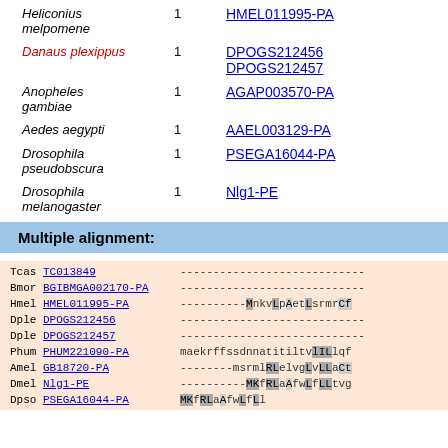| Species | Count | Protein ID |
| --- | --- | --- |
| Heliconius melpomene | 1 | HMEL011995-PA |
| Danaus plexippus | 1 | DPOGS212456
DPOGS212457 |
| Anopheles gambiae | 1 | AGAP003570-PA |
| Aedes aegypti | 1 | AAEL003129-PA |
| Drosophila pseudobscura | 1 | PSEGA16044-PA |
| Drosophila melanogaster | 1 | Nlg1-PE |
Multiple alignment:
| Label | Sequence |
| --- | --- |
| Tcas TC013849 | ---------------------------- |
| Bmor BGIBMGA002170-PA | ---------------------------- |
| Hmel HMEL011995-PA | ----------MnkvLpAetLsrmrCf... |
| Dple DPOGS212456 | ---------------------------- |
| Dple DPOGS212457 | ---------------------------- |
| Phum PHUM221090-PA | maekrffssdnnatitiltvlILlqf... |
| Amel GB18720-PA | --------msrmlRLelvgLvLLaCt... |
| Dmel Nlg1-PE | ----------MKfRLaAfwLfLLtvg... |
| Dpse PSEGA16044-PA | MKfRLaAfwL... |